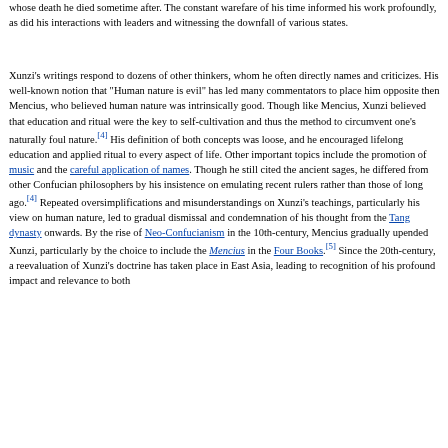whose death he died sometime after. The constant warefare of his time informed his work profoundly, as did his interactions with leaders and witnessing the downfall of various states.
Xunzi's writings respond to dozens of other thinkers, whom he often directly names and criticizes. His well-known notion that "Human nature is evil" has led many commentators to place him opposite then Mencius, who believed human nature was intrinsically good. Though like Mencius, Xunzi believed that education and ritual were the key to self-cultivation and thus the method to circumvent one's naturally foul nature.[4] His definition of both concepts was loose, and he encouraged lifelong education and applied ritual to every aspect of life. Other important topics include the promotion of music and the careful application of names. Though he still cited the ancient sages, he differed from other Confucian philosophers by his insistence on emulating recent rulers rather than those of long ago.[4] Repeated oversimplifications and misunderstandings on Xunzi's teachings, particularly his view on human nature, led to gradual dismissal and condemnation of his thought from the Tang dynasty onwards. By the rise of Neo-Confucianism in the 10th-century, Mencius gradually upended Xunzi, particularly by the choice to include the Mencius in the Four Books.[5] Since the 20th-century, a reevaluation of Xunzi's doctrine has taken place in East Asia, leading to recognition of his profound impact and relevance to both